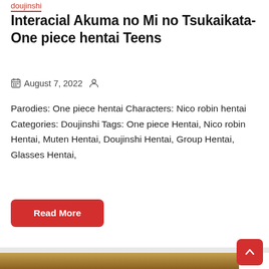doujinshi
Interacial Akuma no Mi no Tsukaikata- One piece hentai Teens
August 7, 2022
Parodies: One piece hentai Characters: Nico robin hentai Categories: Doujinshi Tags: One piece Hentai, Nico robin Hentai, Muten Hentai, Doujinshi Hentai, Group Hentai, Glasses Hentai,
Read More
[Figure (illustration): Anime illustration showing two female characters with blonde and pink hair against a dark ornate background]